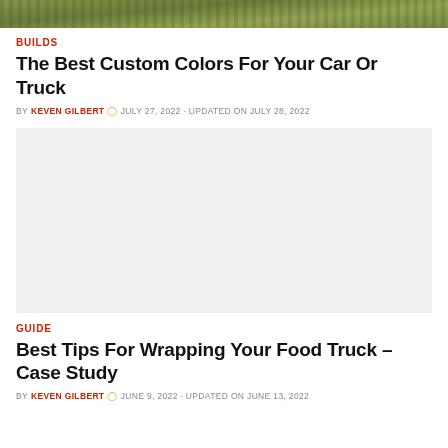[Figure (photo): Top portion of a grass/lawn photograph, cropped at top of page]
BUILDS
The Best Custom Colors For Your Car Or Truck
BY KEVEN GILBERT  ○ JULY 27, 2022 · UPDATED ON JULY 28, 2022
[Figure (photo): Light gray placeholder image block]
GUIDE
Best Tips For Wrapping Your Food Truck – Case Study
BY KEVEN GILBERT  ○ JUNE 9, 2022 · UPDATED ON JUNE 13, 2022